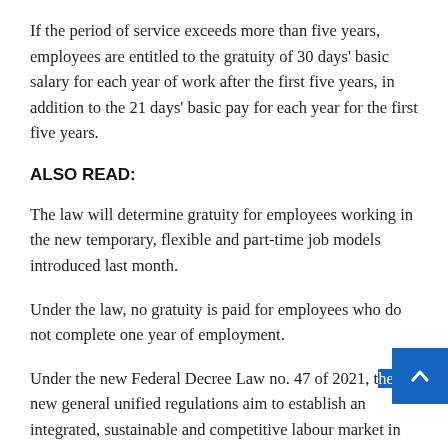If the period of service exceeds more than five years, employees are entitled to the gratuity of 30 days' basic salary for each year of work after the first five years, in addition to the 21 days' basic pay for each year for the first five years.
ALSO READ:
The law will determine gratuity for employees working in the new temporary, flexible and part-time job models introduced last month.
Under the law, no gratuity is paid for employees who do not complete one year of employment.
Under the new Federal Decree Law no. 47 of 2021, the new general unified regulations aim to establish an integrated, sustainable and competitive labour market in the UAE.